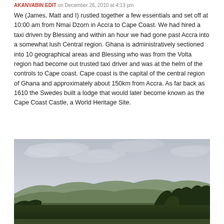on December 26, 2010 at 4:13 pm
We (James, Matt and I) rustled together a few essentials and set off at 10:00 am from Nmai Dzorn in Accra to Cape Coast. We had hired a taxi driven by Blessing and within an hour we had gone past Accra into a somewhat lush Central region. Ghana is administratively sectioned into 10 geographical areas and Blessing who was from the Volta region had become out trusted taxi driver and was at the helm of the controls to Cape coast. Cape coast is the capital of the central region of Ghana and approximately about 150km from Accra. As far back as 1610 the Swedes built a lodge that would later become known as the Cape Coast Castle, a World Heritage Site.
[Figure (photo): Landscape photograph showing overcast grey sky with clouds, distant green hills, and dark foreground vegetation/trees.]